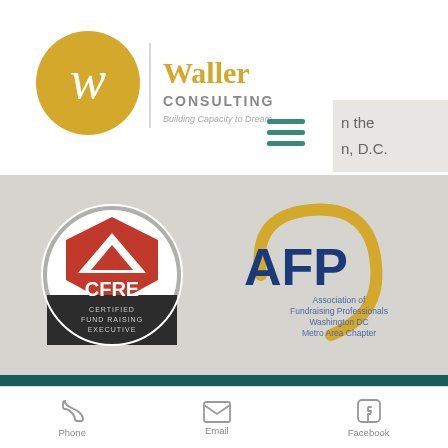[Figure (logo): Waller Consulting logo with golden circle containing stylized W, text 'Waller CONSULTING Building Capacity to Dream']
n the
n, D.C.
[Figure (other): Hamburger menu icon (three horizontal teal lines)]
[Figure (logo): CFRE Certified Fund Raising Executive badge logo (red and dark circular badge)]
[Figure (logo): AFP Association of Fundraising Professionals Washington DC Metro Area Chapter logo]
©2021 by WALLER CONSULTING.
Proudly created and updated by EMILY Revolutionary Marketing Group™
Phone  Email  Facebook